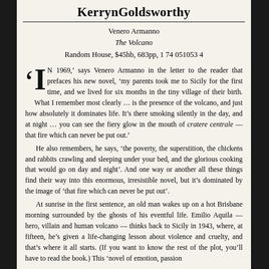KerrynGoldsworthy
Venero Armanno
The Volcano
Random House, $45hb, 683pp, 1 74 051053 4
'IN 1969,' says Venero Armanno in the letter to the reader that prefaces his new novel, 'my parents took me to Sicily for the first time, and we lived for six months in the tiny village of their birth. What I remember most clearly … is the presence of the volcano, and just how absolutely it dominates life. It's there smoking silently in the day, and at night … you can see the fiery glow in the mouth of cratere centrale — that fire which can never be put out.'

He also remembers, he says, 'the poverty, the superstition, the chickens and rabbits crawling and sleeping under your bed, and the glorious cooking that would go on day and night'. And one way or another all these things find their way into this enormous, irresistible novel, but it's dominated by the image of 'that fire which can never be put out'.

At sunrise in the first sentence, an old man wakes up on a hot Brisbane morning surrounded by the ghosts of his eventful life. Emilio Aquila — hero, villain and human volcano — thinks back to Sicily in 1943, where, at fifteen, he's given a life-changing lesson about violence and cruelty, and that's where it all starts. (If you want to know the rest of the plot, you'll have to read the book.) This 'novel of emotion, passion